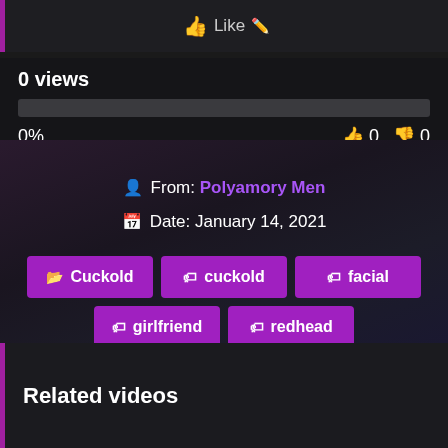Like
0 views
0%   👍 0  👎 0
From: Polyamory Men
Date: January 14, 2021
Cuckold
cuckold
facial
girlfriend
redhead
Related videos